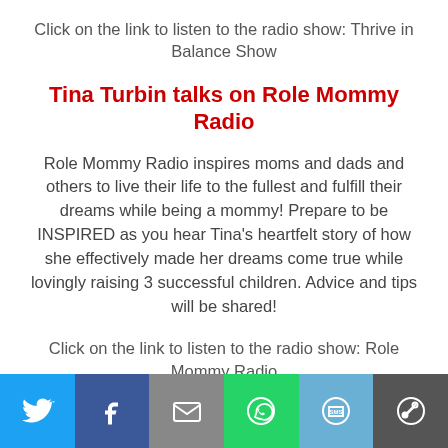Click on the link to listen to the radio show: Thrive in Balance Show
Tina Turbin talks on Role Mommy Radio
Role Mommy Radio inspires moms and dads and others to live their life to the fullest and fulfill their dreams while being a mommy! Prepare to be INSPIRED as you hear Tina's heartfelt story of how she effectively made her dreams come true while lovingly raising 3 successful children. Advice and tips will be shared!
Click on the link to listen to the radio show: Role Mommy Radio
[Figure (infographic): Social sharing bar with six colored buttons: Twitter (blue), Facebook (dark blue), Email (gray), WhatsApp (green), SMS (light blue), More (dark gray), each with white icons.]